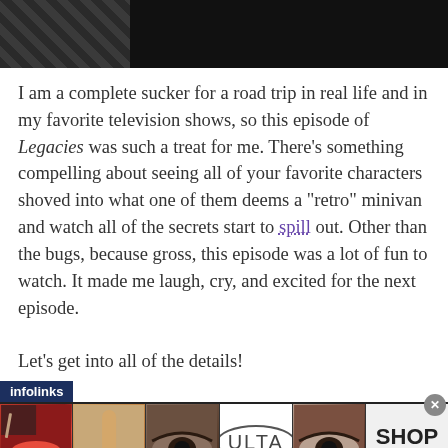[Figure (photo): Dark cropped photo showing people, partially visible at top of page]
I am a complete sucker for a road trip in real life and in my favorite television shows, so this episode of Legacies was such a treat for me. There's something compelling about seeing all of your favorite characters shoved into what one of them deems a “retro” minivan and watch all of the secrets start to spill out. Other than the bugs, because gross, this episode was a lot of fun to watch. It made me laugh, cry, and excited for the next episode.

Let’s get into all of the details!
[Figure (advertisement): Ulta Beauty advertisement banner with makeup imagery and SHOP NOW call to action, with infolinks label]